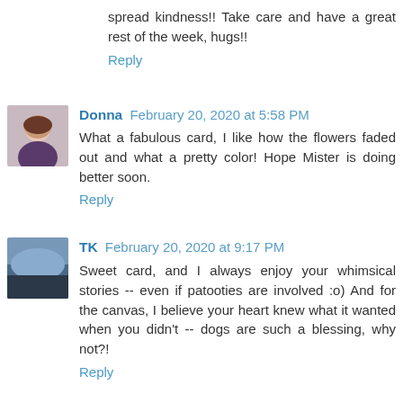spread kindness!! Take care and have a great rest of the week, hugs!!
Reply
Donna  February 20, 2020 at 5:58 PM
What a fabulous card, I like how the flowers faded out and what a pretty color! Hope Mister is doing better soon.
Reply
TK  February 20, 2020 at 9:17 PM
Sweet card, and I always enjoy your whimsical stories -- even if patooties are involved :o) And for the canvas, I believe your heart knew what it wanted when you didn't -- dogs are such a blessing, why not?!
Reply
Carole Pollard  February 21, 2020 at 3:47 AM